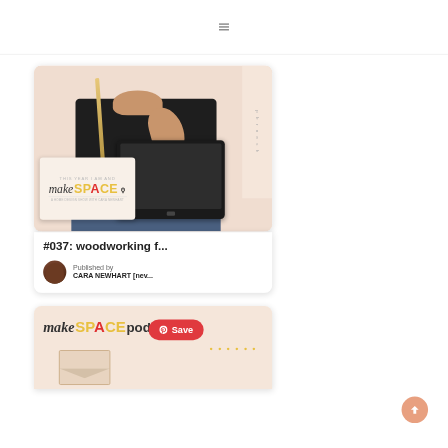≡ (hamburger menu)
[Figure (photo): Card showing a person's hand holding a wooden dowel over a tablet device, with a beige/salmon background. A 'make SPACE' book/podcast cover card is overlaid at bottom left.]
#037: woodworking f...
Published by
CARA NEWHART [nev...
[Figure (logo): Second card showing 'make SPACE pod...' logo/text on a salmon/peach background with illustrated elements. A red Pinterest 'Save' button is overlaid.]